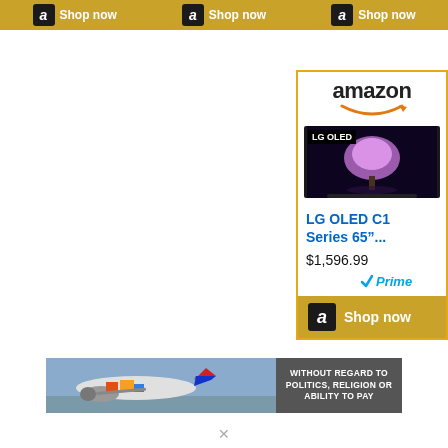[Figure (screenshot): Top Amazon banner strip with three 'Shop now' buttons on golden background]
[Figure (screenshot): Amazon advertisement card for LG OLED C1 Series 65 inch TV at $1,596.99 with Prime badge and Shop now button]
Ring HD Security Camera
[Figure (screenshot): Banner advertisement showing airplane being loaded with cargo, with text 'WITHOUT REGARD TO POLITICS, RELIGION OR ABILITY TO PAY']